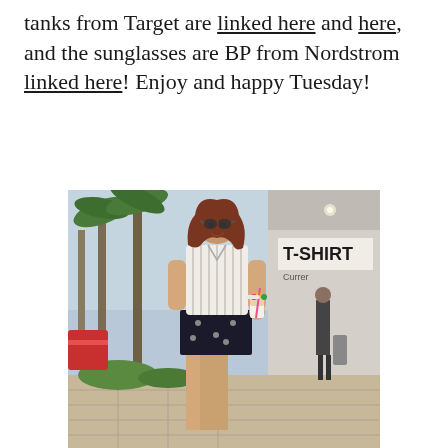tanks from Target are linked here and here, and the sunglasses are BP from Nordstrom linked here! Enjoy and happy Tuesday!
[Figure (photo): A smiling woman with red hair, wearing sunglasses, a white striped sleeveless shirt, and black embellished shorts, holding a colorful drink cup, standing on a sidewalk outside a shopping strip with palm trees and a T-SHIRT store sign visible in the background.]